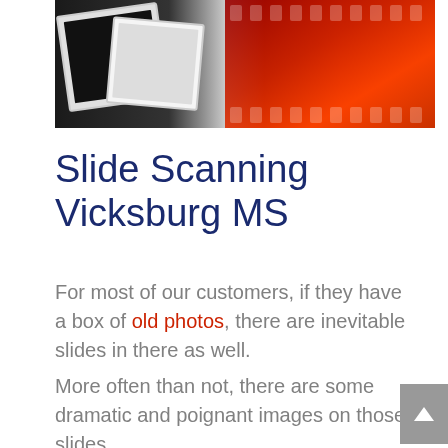[Figure (photo): Photo showing film slides and photographic negatives/slides fanned out, with dark slide mounts on the left and red-toned film strips on the right]
Slide Scanning Vicksburg MS
For most of our customers, if they have a box of old photos, there are inevitable slides in there as well.
More often than not, there are some dramatic and poignant images on those slides.